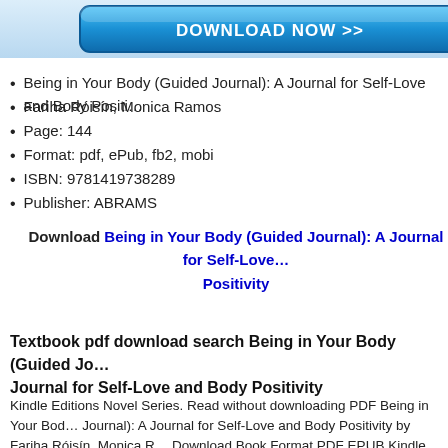[Figure (illustration): Blue download button with white bold text 'DOWNLOAD NOW >>' on a light blue gradient background]
Being in Your Body (Guided Journal): A Journal for Self-Love and Body Positi…
Fariha Róisín, Monica Ramos
Page: 144
Format: pdf, ePub, fb2, mobi
ISBN: 9781419738289
Publisher: ABRAMS
Download Being in Your Body (Guided Journal): A Journal for Self-Love and Body Positivity
Textbook pdf download search Being in Your Body (Guided Jo… Journal for Self-Love and Body Positivity
Kindle Editions Novel Series. Read without downloading PDF Being in Your Bod… Journal): A Journal for Self-Love and Body Positivity by Fariha Róisín, Monica R… Download Book Format PDF EPUB Kindle. Downloading from the publisher EPU… Your Body (Guided Journal): A Journal for Self-Love and Body Positivity By Fari…